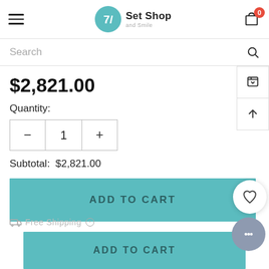Set Shop and Smile
Search
$2,821.00
Quantity:
- 1 +
Subtotal: $2,821.00
ADD TO CART
ADD TO CART